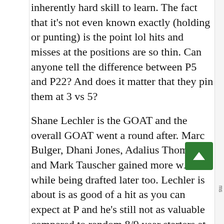inherently hard skill to learn. The fact that it's not even known exactly (holding or punting) is the point lol hits and misses at the positions are so thin. Can anyone tell the difference between P5 and P22? And does it matter that they pin them at 3 vs 5?
Shane Lechler is the GOAT and the overall GOAT went a round after. Marc Bulger, Dhani Jones, Adalius Thomas, and Mark Tauscher gained more wAV while being drafted later too. Lechler is about is as good of a hit as you can expect at P and he's still not as valuable compared to random 8/9 year starters at QB, LB, or O etc.
I get it Baltimore is smart. Trust me I mention it a lot. It's alright to admit that